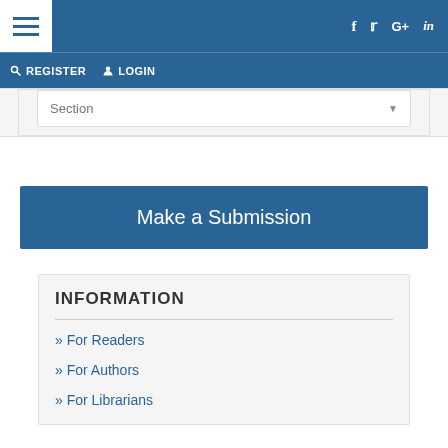REGISTER LOGIN
Section
Make a Submission
INFORMATION
» For Readers
» For Authors
» For Librarians